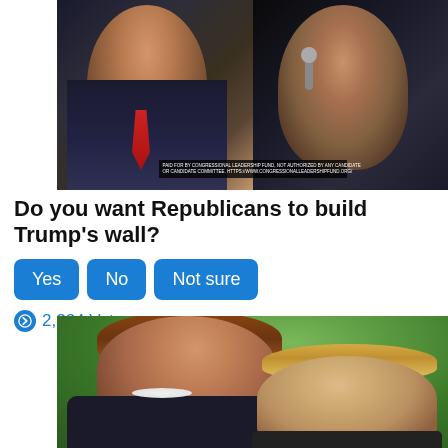[Figure (photo): Split image showing two politicians speaking at podiums, man with red tie on left, man holding microphone on right, with disclaimer text overlay at bottom]
Do you want Republicans to build Trump's wall?
Yes  No  Not sure
2,224 Votes
[Figure (photo): Outdoor photo of Nancy Pelosi and Donald Trump facing each other, green leafy background]